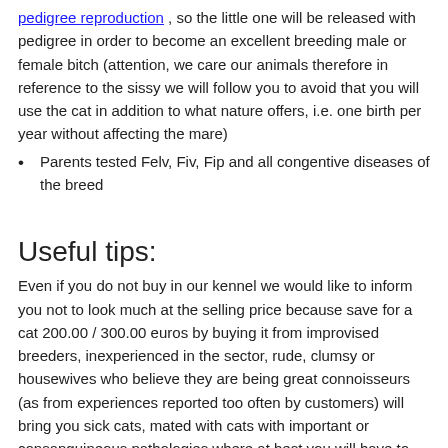pedigree reproduction , so the little one will be released with pedigree in order to become an excellent breeding male or female bitch (attention, we care our animals therefore in reference to the sissy we will follow you to avoid that you will use the cat in addition to what nature offers, i.e. one birth per year without affecting the mare)
Parents tested Felv, Fiv, Fip and all congentive diseases of the breed
Useful tips:
Even if you do not buy in our kennel we would like to inform you not to look much at the selling price because save for a cat 200.00 / 300.00 euros by buying it from improvised breeders, inexperienced in the sector, rude, clumsy or housewives who believe they are being great connoisseurs (as from experiences reported too often by customers) will bring you sick cats, mated with cats with important or consanguineous pathologies where at best you will have to bear large monthly expenses for